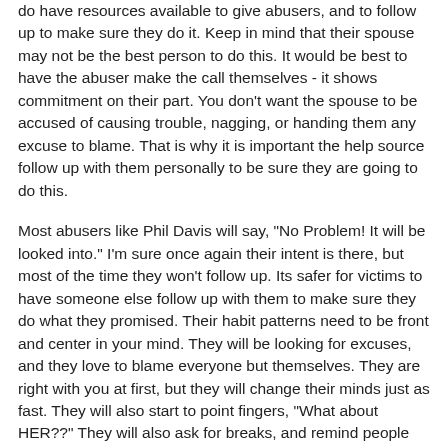do have resources available to give abusers, and to follow up to make sure they do it. Keep in mind that their spouse may not be the best person to do this. It would be best to have the abuser make the call themselves - it shows commitment on their part. You don't want the spouse to be accused of causing trouble, nagging, or handing them any excuse to blame. That is why it is important the help source follow up with them personally to be sure they are going to do this.
Most abusers like Phil Davis will say, "No Problem! It will be looked into." I'm sure once again their intent is there, but most of the time they won't follow up. Its safer for victims to have someone else follow up with them to make sure they do what they promised. Their habit patterns need to be front and center in your mind. They will be looking for excuses, and they love to blame everyone but themselves. They are right with you at first, but they will change their minds just as fast. They will also start to point fingers, "What about HER??" They will also ask for breaks, and remind people how well they have been doing as a tool to get you to back off. Its fear that is talking, and remember they are some of